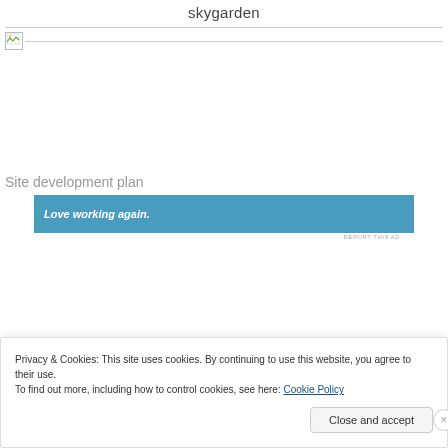skygarden
[Figure (photo): Broken image placeholder with horizontal line, followed by a blank white image area (image failed to load)]
Site development plan
[Figure (other): Blue advertisement banner with italic text: Love working again.]
REPORT THIS AD
Privacy & Cookies: This site uses cookies. By continuing to use this website, you agree to their use.
To find out more, including how to control cookies, see here: Cookie Policy
Close and accept